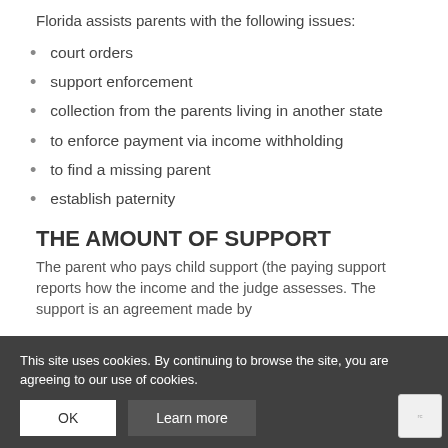Florida assists parents with the following issues:
court orders
support enforcement
collection from the parents living in another state
to enforce payment via income withholding
to find a missing parent
establish paternity
THE AMOUNT OF SUPPORT
The parent who pays child support (the paying support reports how the income and the judge assesses. The support is an agreement made by
This site uses cookies. By continuing to browse the site, you are agreeing to our use of cookies.